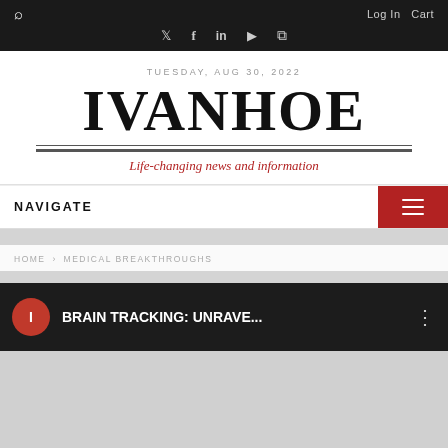Search  Log In  Cart  Twitter  Facebook  LinkedIn  YouTube  RSS
TUESDAY, AUG 30, 2022
IVANHOE
Life-changing news and information
NAVIGATE
HOME > MEDICAL BREAKTHROUGHS
[Figure (screenshot): Video thumbnail with red circle icon showing 'I', white text reading 'BRAIN TRACKING: UNRAVE...' and three-dot menu icon on dark background]